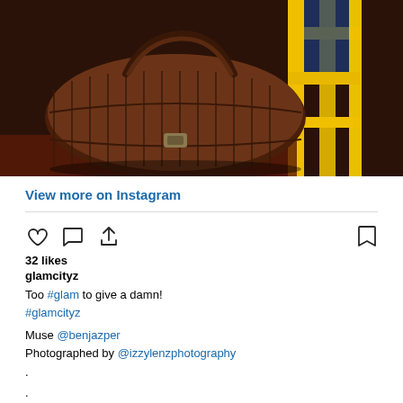[Figure (photo): Photo of a dark brown leather duffel bag held by a person, with yellow metal railings/poles in the background]
View more on Instagram
32 likes
glamcityz
Too #glam to give a damn!
#glamcityz

Muse @benjazper
Photographed by @izzylenzphotography

.

.

.
#glamcityz #fashion #style #orangecityz #style #AmandlaStenberg #YaraShahidi #ladygaga #owambe #outfit #mensfashion #jumia #bellanaija #model #mua #orangecityz